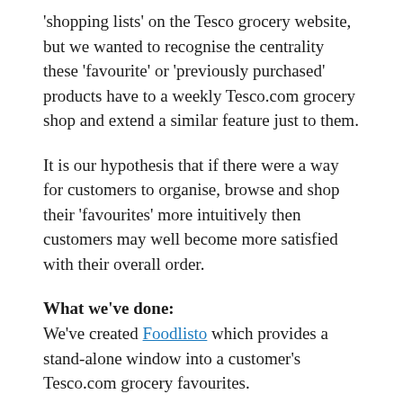'shopping lists' on the Tesco grocery website, but we wanted to recognise the centrality these 'favourite' or 'previously purchased' products have to a weekly Tesco.com grocery shop and extend a similar feature just to them.
It is our hypothesis that if there were a way for customers to organise, browse and shop their 'favourites' more intuitively then customers may well become more satisfied with their overall order.
What we've done:
We've created Foodlisto which provides a stand-alone window into a customer's Tesco.com grocery favourites.